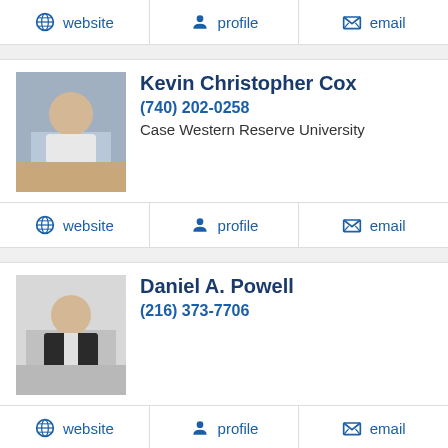website | profile | email
[Figure (photo): Profile photo of Kevin Christopher Cox]
Kevin Christopher Cox
(740) 202-0258
Case Western Reserve University
website | profile | email
[Figure (photo): Profile photo of Daniel A. Powell]
Daniel A. Powell
(216) 373-7706
website | profile | email
NEXT